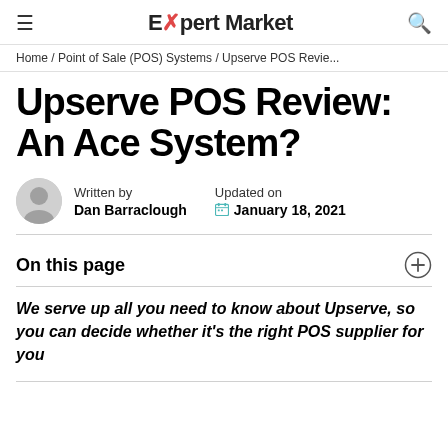Expert Market
Home / Point of Sale (POS) Systems / Upserve POS Revie...
Upserve POS Review: An Ace System?
Written by
Dan Barraclough
Updated on
January 18, 2021
On this page
We serve up all you need to know about Upserve, so you can decide whether it's the right POS supplier for you